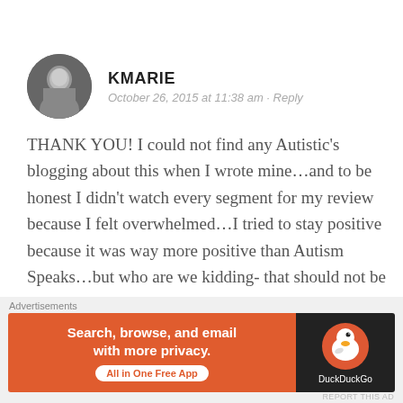[Figure (photo): Circular black and white avatar photo of a person]
KMARIE
October 26, 2015 at 11:38 am · Reply
THANK YOU! I could not find any Autistic's blogging about this when I wrote mine...and to be honest I didn't watch every segment for my review because I felt overwhelmed...I tried to stay positive because it was way more positive than Autism Speaks...but who are we kidding- that should not be the bar I put positive experiences up to! So If you don't
Advertisements
[Figure (screenshot): DuckDuckGo advertisement banner: orange left side with text 'Search, browse, and email with more privacy. All in One Free App' and dark right side with DuckDuckGo logo]